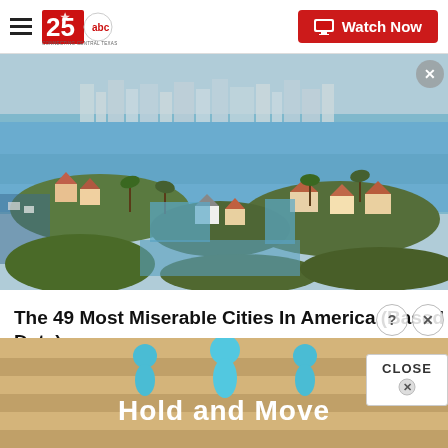25 ABC - Connecting Central Texas | Watch Now
[Figure (photo): Aerial view of a coastal city neighborhood with canals, waterways, luxury homes with tile roofs and palm trees, with a city skyline visible in the background across a bay.]
The 49 Most Miserable Cities In America (Based on U.S. Census Data)
[Figure (screenshot): Advertisement banner showing 'Hold and Move' text with illustrated figures/people icons in teal/blue, on a sandy/brown background.]